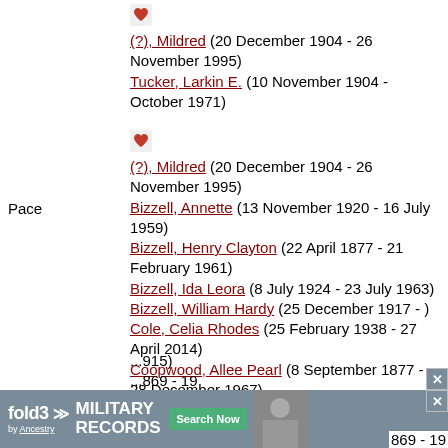(?), Mildred (20 December 1904 - 26 November 1995)
Tucker, Larkin E. (10 November 1904 - October 1971)
Pace
(?), Mildred (20 December 1904 - 26 November 1995)
Bizzell, Annette (13 November 1920 - 16 July 1959)
Bizzell, Henry Clayton (22 April 1877 - 21 February 1961)
Bizzell, Ida Leora (8 July 1924 - 23 July 1963)
Bizzell, William Hardy (25 December 1917 - )
Cole, Celia Rhodes (25 February 1938 - 27 April 2014)
Coopwood, Allee Pearl (8 September 1877 - 28 December 1967)
Culpepper, Malcolm Wicks (17 ...915) ... 869 - 19
[Figure (infographic): fold3 Military Records advertisement banner by Ancestry]